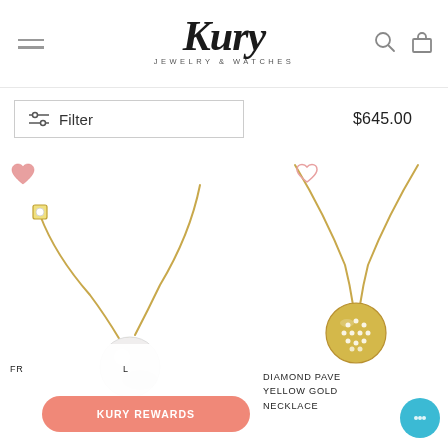[Figure (logo): Kury Jewelry & Watches logo with hamburger menu, search and bag icons in header]
Filter
$645.00
[Figure (photo): Pearl pendant necklace on yellow gold chain with diamond bezel accent, white background]
[Figure (photo): Diamond pave circular pendant on yellow gold chain, white background]
DIAMOND PAVE YELLOW GOLD NECKLACE
KURY REWARDS